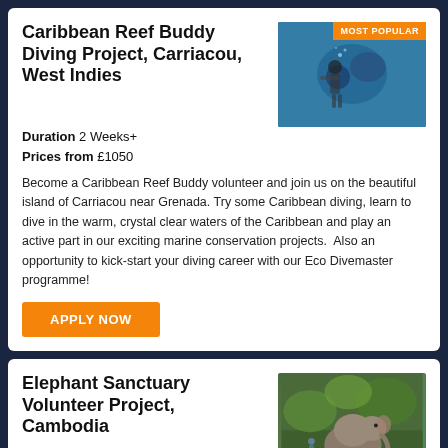Caribbean Reef Buddy Diving Project, Carriacou, West Indies
Duration 2 Weeks+
Prices from £1050
[Figure (photo): Underwater photo of diver in Caribbean waters with MOST POPULAR badge overlay]
Become a Caribbean Reef Buddy volunteer and join us on the beautiful island of Carriacou near Grenada. Try some Caribbean diving, learn to dive in the warm, crystal clear waters of the Caribbean and play an active part in our exciting marine conservation projects.  Also an opportunity to kick-start your diving career with our Eco Divemaster programme!
APPLY NOW
Elephant Sanctuary Volunteer Project, Cambodia
Duration 2-8 Weeks
Prices from £815
[Figure (photo): Photo of elephants in forest sanctuary in Cambodia]
Volunteer with elephants at an Elephant Sanctuary in the forests...